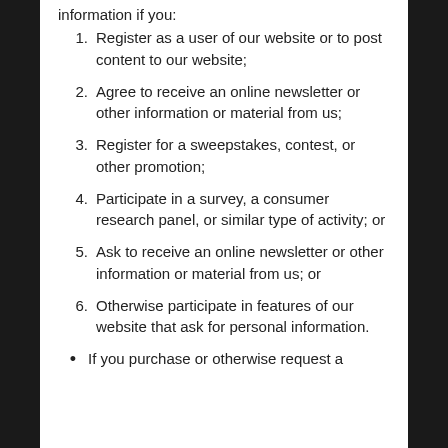information if you:
Register as a user of our website or to post content to our website;
Agree to receive an online newsletter or other information or material from us;
Register for a sweepstakes, contest, or other promotion;
Participate in a survey, a consumer research panel, or similar type of activity; or
Ask to receive an online newsletter or other information or material from us; or
Otherwise participate in features of our website that ask for personal information.
If you purchase or otherwise request a